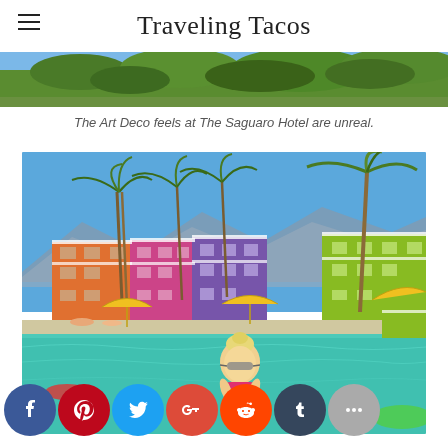Traveling Tacos
[Figure (photo): Top portion of a photo showing green foliage and trees at The Saguaro Hotel]
The Art Deco feels at The Saguaro Hotel are unreal.
[Figure (photo): Woman in pink bikini in a turquoise pool at The Saguaro Hotel, Palm Springs. Behind her are colorful (orange, pink, purple, green, yellow) Art Deco hotel buildings with balconies. Tall palm trees and mountains in the background. Yellow umbrellas and pool loungers visible. Green float in foreground right.]